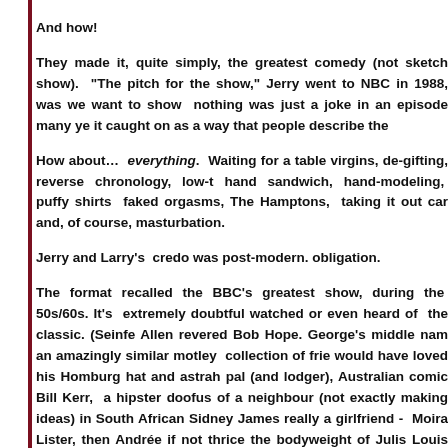And how!
They made it, quite simply, the greatest comedy (not sketch show). "The pitch for the show," Jerry went to NBC in 1988, was we want to show nothing was just a joke in an episode many ye it caught on as a way that people describe the
How about... everything. Waiting for a table virgins, de-gifting, reverse chronology, low-t hand sandwich, hand-modeling, puffy shirts faked orgasms, The Hamptons, taking it out car and, of course, masturbation.
Jerry and Larry's credo was post-modern. obligation.
The format recalled the BBC's greatest show, during the 50s/60s. It's extremely doubtful watched or even heard of the classic. (Seinfe Allen revered Bob Hope. George's middle nam an amazingly similar motley collection of frie would have loved his Homburg hat and astrah pal (and lodger), Australian comic Bill Kerr, a hipster doofus of a neighbour (not exactly making ideas) in South African Sidney James really a girlfriend - Moira Lister, then Andrée if not thrice the bodyweight of Julis Louis Dre of Hancock's non-plots took place in his hom